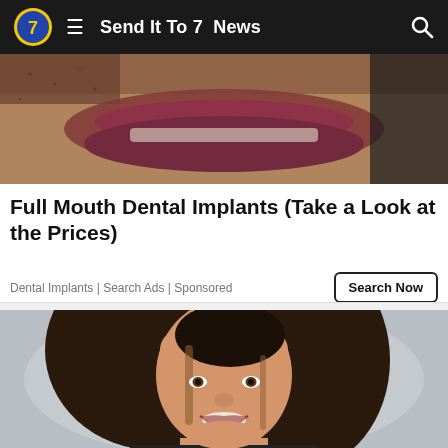Send It To 7  News
[Figure (photo): Close-up photo of a person's mouth/lips from a dental advertisement]
Full Mouth Dental Implants (Take a Look at the Prices)
Dental Implants | Search Ads | Sponsored
[Figure (photo): Photo of a smiling young woman with dark hair against a grey background]